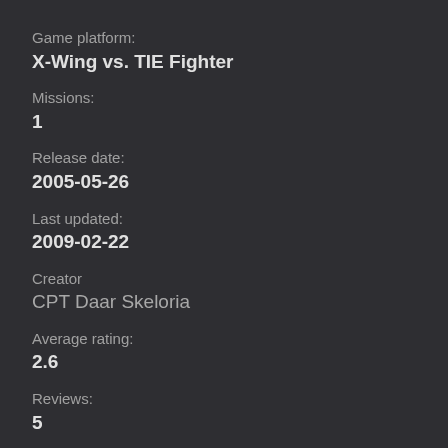Game platform:
X-Wing vs. TIE Fighter
Missions:
1
Release date:
2005-05-26
Last updated:
2009-02-22
Creator
CPT Daar Skeloria
Average rating:
2.6
Reviews:
5
Bug reports:
0